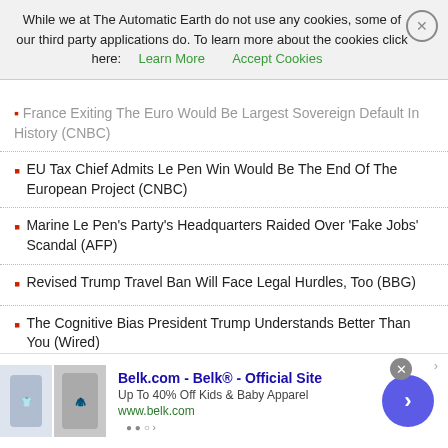While we at The Automatic Earth do not use any cookies, some of our third party applications do. To learn more about the cookies click here: Learn More  Accept Cookies
France Exiting The Euro Would Be Largest Sovereign Default In History (CNBC)
EU Tax Chief Admits Le Pen Win Would Be The End Of The European Project (CNBC)
Marine Le Pen's Party's Headquarters Raided Over 'Fake Jobs' Scandal (AFP)
Revised Trump Travel Ban Will Face Legal Hurdles, Too (BBG)
The Cognitive Bias President Trump Understands Better Than You (Wired)
US Car Loans, Delinquencies Hit Record Levels (Q.)
'Trapped Wealth' Drives Toronto's Speculative Real Estate Dilemma
China's Central Bank To Shine Regulatory Light On Shadow Banking (SCMP)
[Figure (screenshot): Advertisement banner for Belk.com - Belk® - Official Site. Up To 40% Off Kids & Baby Apparel. www.belk.com. Shows images of children's clothing items and a navigation arrow button.]